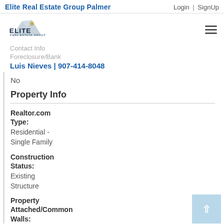Elite Real Estate Group Palmer | Login | SignUp
[Figure (logo): Elite Real Estate Group logo with mountain graphic]
Contact Info
Foreclosure/Bank
Luis Nieves | 907-414-8048
No
Property Info
Realtor.com Type:
Residential - Single Family
Construction Status:
Existing Structure
Property Attached/Common Walls: